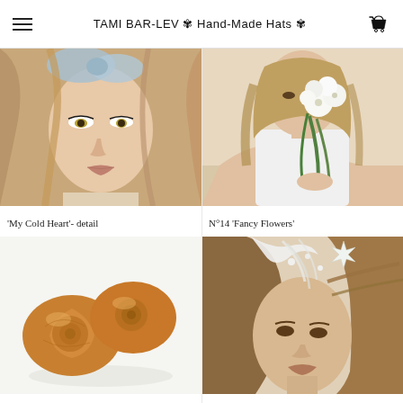TAMI BAR-LEV ✾ Hand-Made Hats ✾
[Figure (photo): Close-up portrait of a young woman with a blue fabric bow/hat accessory in her hair, golden eye makeup, looking forward]
[Figure (photo): Young woman in white dress holding a bouquet of white flowers close to her face, beige background]
'My Cold Heart'- detail
N°14 'Fancy Flowers'
[Figure (photo): Two golden pastry buns (croissant-style rolls) on white background]
[Figure (photo): Young woman wearing an elaborate white feathered/floral hair accessory/hat, hair blowing in wind]